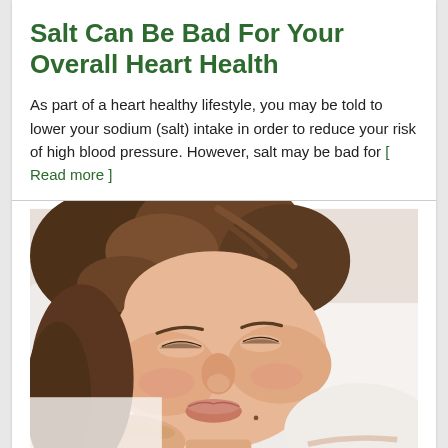Salt Can Be Bad For Your Overall Heart Health
As part of a heart healthy lifestyle, you may be told to lower your sodium (salt) intake in order to reduce your risk of high blood pressure. However, salt may be bad for [ Read more ]
[Figure (photo): A young woman with brown hair lying on a white pillow with eyes closed, appearing to be sleeping or resting. She is wearing a light-colored top. The image is a close-up portrait-style photo.]